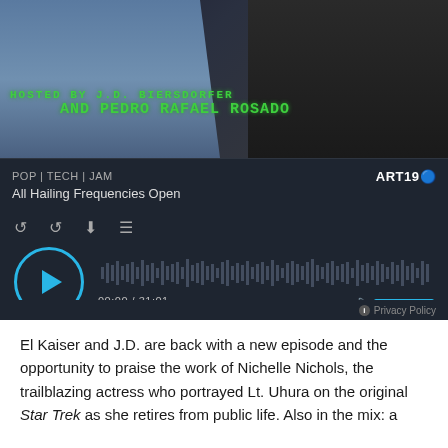[Figure (screenshot): Podcast player embed with banner image of two hosts (J.D. Biersdorfer and Pedro Rafael Rosado), show title 'POP | TECH | JAM', episode title 'All Hailing Frequencies Open', playback controls, waveform, time 00:00 / 31:01, and ART19 branding.]
El Kaiser and J.D. are back with a new episode and the opportunity to praise the work of Nichelle Nichols, the trailblazing actress who portrayed Lt. Uhura on the original Star Trek as she retires from public life. Also in the mix: a